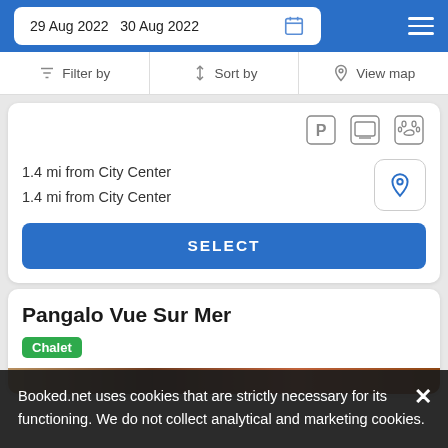29 Aug 2022  30 Aug 2022
Filter by  Sort by  View map
1.4 mi from City Center
1.4 mi from City Center
SELECT
Pangalo Vue Sur Mer
Chalet
Booked.net uses cookies that are strictly necessary for its functioning. We do not collect analytical and marketing cookies.